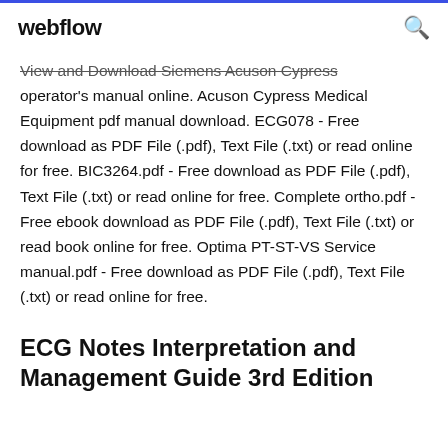webflow
View and Download Siemens Acuson Cypress operator's manual online. Acuson Cypress Medical Equipment pdf manual download. ECG078 - Free download as PDF File (.pdf), Text File (.txt) or read online for free. BIC3264.pdf - Free download as PDF File (.pdf), Text File (.txt) or read online for free. Complete ortho.pdf - Free ebook download as PDF File (.pdf), Text File (.txt) or read book online for free. Optima PT-ST-VS Service manual.pdf - Free download as PDF File (.pdf), Text File (.txt) or read online for free.
ECG Notes Interpretation and Management Guide 3rd Edition